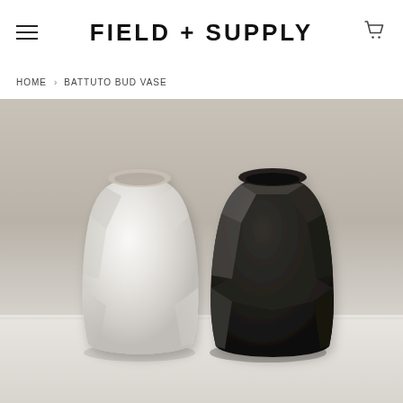FIELD + SUPPLY
HOME › BATTUTO BUD VASE
[Figure (photo): Two geometric faceted bud vases side by side: one matte white ceramic on the left and one matte black ceramic on the right, both with angular polygonal surfaces, photographed against a warm gray background.]